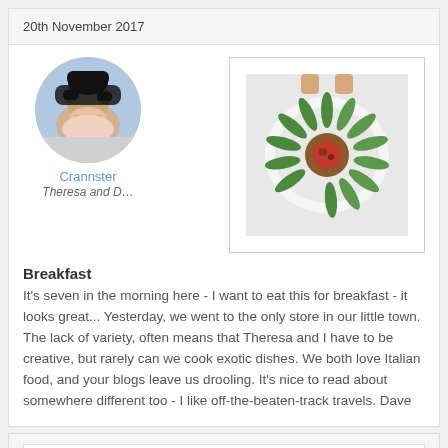20th November 2017
[Figure (photo): Circular profile photo of two people outdoors wearing winter clothing and sunglasses]
Crannster
Theresa and D…
[Figure (photo): Photo of an elaborately decorated plate of food with green garnishes arranged like flower petals around a central component, viewed from above]
Breakfast
It's seven in the morning here - I want to eat this for breakfast - it looks great... Yesterday, we went to the only store in our little town. The lack of variety, often means that Theresa and I have to be creative, but rarely can we cook exotic dishes. We both love Italian food, and your blogs leave us drooling. It's nice to read about somewhere different too - I like off-the-beaten-track travels. Dave
20th November 2017